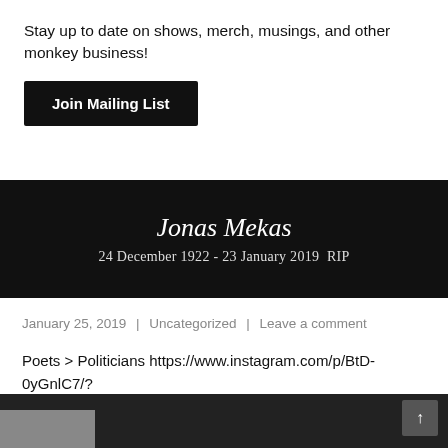Stay up to date on shows, merch, musings, and other monkey business!
Join Mailing List
Jonas Mekas
24 December 1922 - 23 January 2019  RIP
January 25, 2019 | Uncategorized | Leave a comment
Poets > Politicians https://www.instagram.com/p/BtD-0yGnlC7/?utm_source=ig_tumblr_share&igshid=crxsysy8lhdu